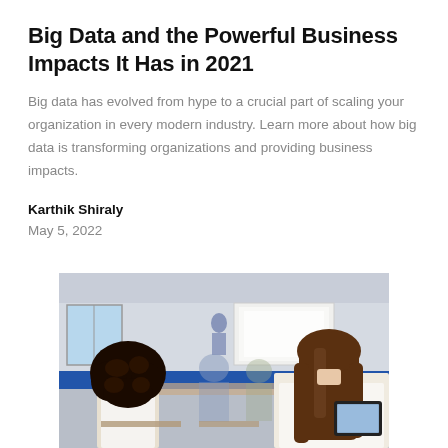Big Data and the Powerful Business Impacts It Has in 2021
Big data has evolved from hype to a crucial part of scaling your organization in every modern industry. Learn more about how big data is transforming organizations and providing business impacts.
Karthik Shiraly
May 5, 2022
[Figure (photo): Classroom scene showing students from behind, with a girl with long brown hair on the right using a tablet, another with curly hair on the left, and a whiteboard/projector visible at the front of the room. Blue accent stripe on the wall.]